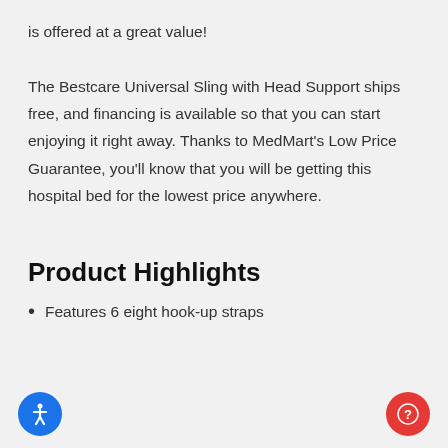is offered at a great value!
The Bestcare Universal Sling with Head Support ships free, and financing is available so that you can start enjoying it right away. Thanks to MedMart's Low Price Guarantee, you'll know that you will be getting this hospital bed for the lowest price anywhere.
Product Highlights
Features 6 eight hook-up straps